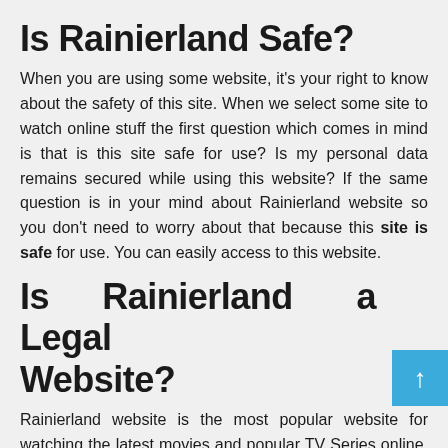Is Rainierland Safe?
When you are using some website, it's your right to know about the safety of this site. When we select some site to watch online stuff the first question which comes in mind is that is this site safe for use? Is my personal data remains secured while using this website? If the same question is in your mind about Rainierland website so you don't need to worry about that because this site is safe for use. You can easily access to this website.
Is Rainierland a Legal Website?
Rainierland website is the most popular website for watching the latest movies and popular TV Series online. This website is free for use. If you are ready to use this website, it's your right to know Is Rainierland legal website or can I trust the Rainierland web watching movies and TV shows. No Rainierland is not website. This website has some copyright issues. If you are still thi